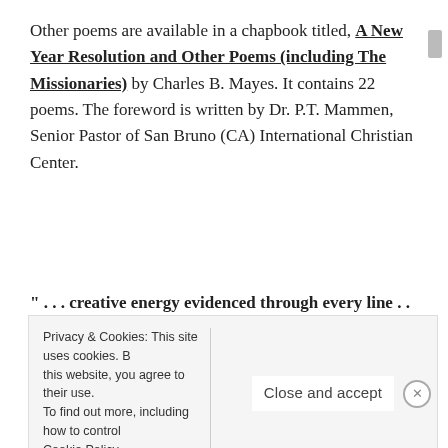Other poems are available in a chapbook titled, A New Year Resolution and Other Poems (including The Missionaries) by Charles B. Mayes. It contains 22 poems. The foreword is written by Dr. P.T. Mammen, Senior Pastor of San Bruno (CA) International Christian Center.
" . . . creative energy evidenced through every line . . ." – Dr. P.T. Mammen
To request my free Christian readings by email,
Privacy & Cookies: This site uses cookies. By continuing to use this website, you agree to their use. To find out more, including how to control cookies, see here: Cookie Policy   Close and accept